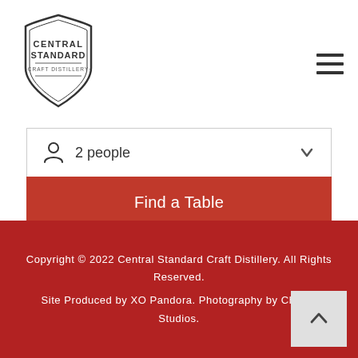[Figure (logo): Central Standard Craft Distillery logo — hexagonal badge shape with the text CENTRAL STANDARD CRAFT DISTILLERY]
[Figure (other): Hamburger menu icon — three horizontal dark bars]
[Figure (other): Reservation widget with '2 people' selector dropdown and 'Find a Table' red button]
[Figure (logo): OpenTable logo with red dot and circular icon]
Copyright © 2022 Central Standard Craft Distillery. All Rights Reserved.
Site Produced by XO Pandora. Photography by Champ Studios.